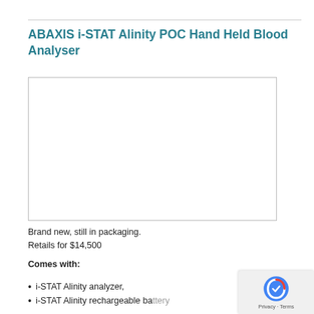ABAXIS i-STAT Alinity POC Hand Held Blood Analyser
[Figure (photo): Empty image placeholder box with border — product image area for the ABAXIS i-STAT Alinity POC Hand Held Blood Analyser]
Brand new, still in packaging.
Retails for $14,500
Comes with:
i-STAT Alinity analyzer,
i-STAT Alinity rechargeable battery